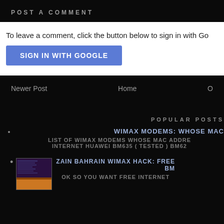POST A COMMENT
To leave a comment, click the button below to sign in with Go
SIGN IN WITH GOOGLE
Newer Post   Home   O
POPULAR POSTS
WIMAX MODEMS: WHOSE MAC LIST OF WIMAX MODEMS WHOSE MAC ADDRE INTERNET HUAWEI BM635 ( TESTED ) BM62
ZAIN BAHRAIN WIMAX HACK: FREE BM OK SO YOU WANT FREE INTERNET